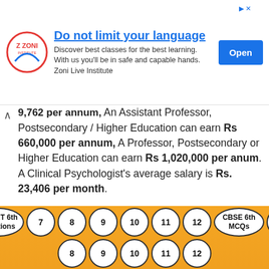[Figure (other): Advertisement banner for Zoni Live Institute with logo, text 'Do not limit your language. Discover best classes for the best learning. With us you'll be in safe and capable hands. Zoni Live Institute', and an Open button.]
9,762 per annum, An Assistant Professor, Postsecondary / Higher Education can earn Rs 660,000 per annum, A Professor, Postsecondary or Higher Education can earn Rs 1,020,000 per anum. A Clinical Psychologist's average salary is Rs. 23,406 per month.
FAQs on Doctorate in Philosophy
1. What is Ph.D.?
[Figure (other): Bottom navigation bar with circular buttons: NCERT 6th Solutions, 7, 8, 9, 10, 11, 12, CBSE 6th MCQs, 7 (top row) and 8, 9, 10, 11, 12 (bottom row)]